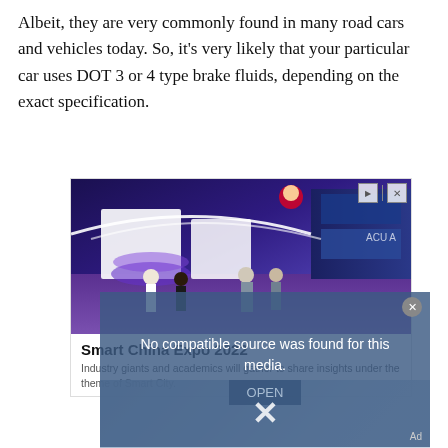Albeit, they are very commonly found in many road cars and vehicles today. So, it's very likely that your particular car uses DOT 3 or 4 type brake fluids, depending on the exact specification.
[Figure (photo): Advertisement banner showing Smart China Expo 2022: an indoor exhibition hall with purple/blue lighting, people walking through booths, and an Acura logo visible. Ad controls (play/close) in the top right.]
Smart China Expo 2022
Industry giants and academics will gather to share insights under the theme of Smart City.
[Figure (screenshot): Video player overlay showing 'No compatible source was found for this media.' message with an OPEN button, Ad label, a large X dismiss icon, and a blurred background image of what appears to be automotive/mechanical imagery.]